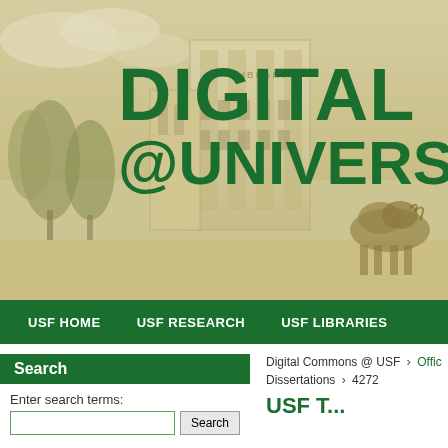[Figure (screenshot): University of South Florida library building photograph with sepia/golden tone overlay showing a multi-story building with trees in foreground and a bull sculpture at right]
DIGITAL @UNIVERSITY
USF HOME  USF RESEARCH  USF LIBRARIES
Search
Enter search terms:
Digital Commons @ USF > Offi...
Dissertations > 4272
USF T...